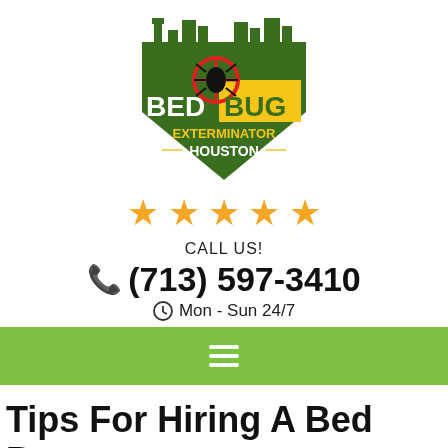[Figure (logo): Bed Bug Exterminator Houston logo — green shield with city skyline, crosshair targeting a bed bug, white text BED BUG and yellow BUG background, EXTERMINATOR HOUSTON text below]
[Figure (other): Five gold/orange star rating icons]
CALL US!
(713) 597-3410
Mon - Sun 24/7
[Figure (other): Green navigation bar with hamburger menu icon (three white horizontal lines)]
Tips For Hiring A Bed Bugs Exterminator